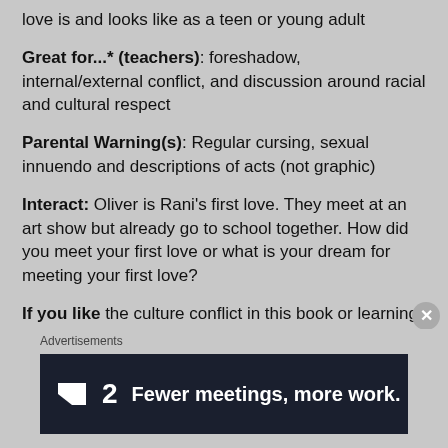love is and looks like as a teen or young adult
Great for...* (teachers): foreshadow, internal/external conflict, and discussion around racial and cultural respect
Parental Warning(s): Regular cursing, sexual innuendo and descriptions of acts (not graphic)
Interact: Oliver is Rani’s first love. They meet at an art show but already go to school together. How did you meet your first love or what is your dream for meeting your first love?
If you like the culture conflict in this book or learning a little about Indian culture, try this book.
Advertisements
[Figure (other): Advertisement banner for F2 app: dark navy background with white F2 logo icon and text 'Fewer meetings, more work.']